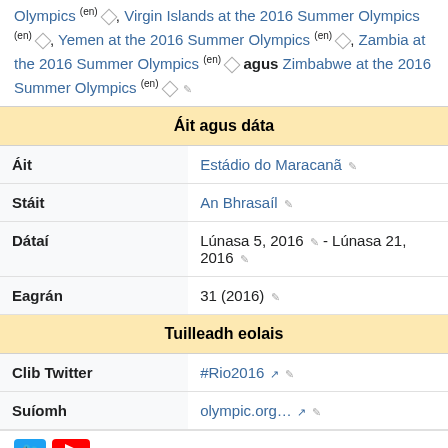Olympics (en) ◇, Virgin Islands at the 2016 Summer Olympics (en) ◇, Yemen at the 2016 Summer Olympics (en) ◇, Zambia at the 2016 Summer Olympics (en) ◇ agus Zimbabwe at the 2016 Summer Olympics (en) ◇ ✎
| Field | Value |
| --- | --- |
| Áit agus dáta |  |
| Áit | Estádio do Maracanã ✎ |
| Stáit | An Bhrasaíl ✎ |
| Dátaí | Lúnasa 5, 2016 ✎ - Lúnasa 21, 2016 ✎ |
| Eagrán | 31 (2016) ✎ |
| Tuilleadh eolais |  |
| Clib Twitter | #Rio2016 ✎ |
| Suíomh | olympic.org… ✎ |